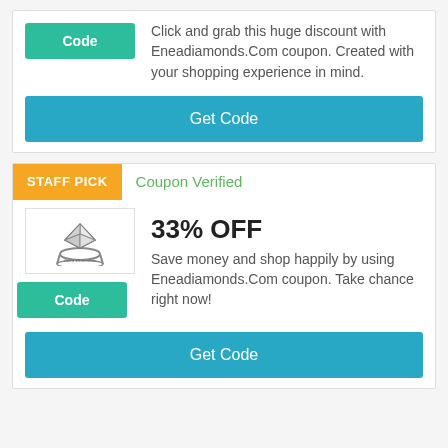Click and grab this huge discount with Eneadiamonds.Com coupon. Created with your shopping experience in mind.
Get Code
STAFF PICK
Coupon Verified
[Figure (logo): Eneadiamonds ring logo]
33% OFF
Save money and shop happily by using Eneadiamonds.Com coupon. Take chance right now!
Get Code